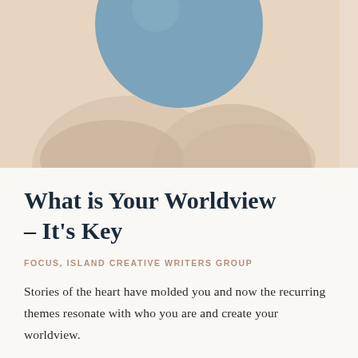[Figure (illustration): Decorative illustration showing a muted beige/peach background with a steel blue circle at the top center and abstract arm shapes, creating an artistic header image.]
What is Your Worldview – It's Key
FOCUS, ISLAND CREATIVE WRITERS GROUP
Stories of the heart have molded you and now the recurring themes resonate with who you are and create your worldview.
Your worldview is an overall way of looking at the